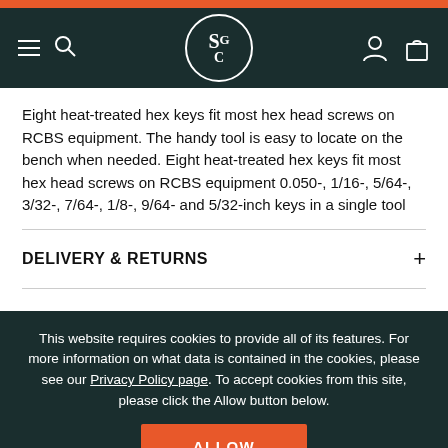[Figure (screenshot): Website navigation header with SGC logo, hamburger menu, search icon, user icon, and bag icon on dark green background]
Eight heat-treated hex keys fit most hex head screws on RCBS equipment. The handy tool is easy to locate on the bench when needed. Eight heat-treated hex keys fit most hex head screws on RCBS equipment 0.050-, 1/16-, 5/64-, 3/32-, 7/64-, 1/8-, 9/64- and 5/32-inch keys in a single tool
DELIVERY & RETURNS
This website requires cookies to provide all of its features. For more information on what data is contained in the cookies, please see our Privacy Policy page. To accept cookies from this site, please click the Allow button below.